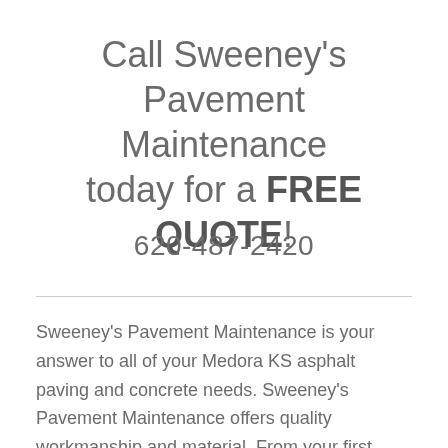Call Sweeney's Pavement Maintenance today for a FREE QUOTE!
620-487-2420
Sweeney's Pavement Maintenance is your answer to all of your Medora KS asphalt paving and concrete needs. Sweeney's Pavement Maintenance offers quality workmanship and material. From your first contact until the job is completed you will